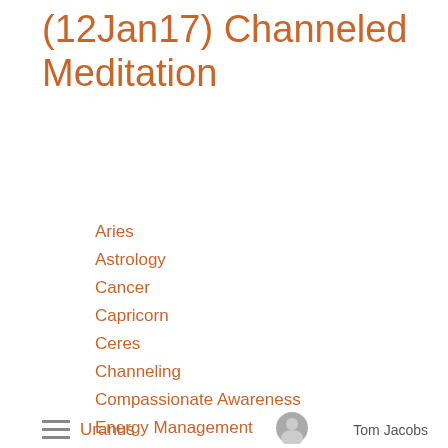(12Jan17) Channeled Meditation
Aries
Astrology
Cancer
Capricorn
Ceres
Channeling
Compassionate Awareness
Energy Management
Eris
Health
Jupiter
Libra
Listening to the Body
Lunations
Moon
Sun
Uranus   Tom Jacobs